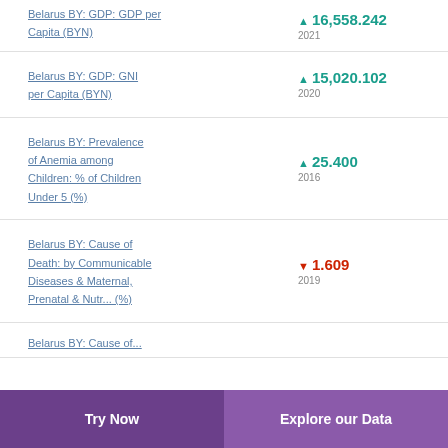Belarus BY: GDP: GDP per Capita (BYN) ▲ 16,558.242 2021
Belarus BY: GDP: GNI per Capita (BYN) ▲ 15,020.102 2020
Belarus BY: Prevalence of Anemia among Children: % of Children Under 5 (%) ▲ 25.400 2016
Belarus BY: Cause of Death: by Communicable Diseases & Maternal, Prenatal & Nutr... (%) ▼ 1.609 2019
Belarus BY: Cause of...
Try Now   Explore our Data